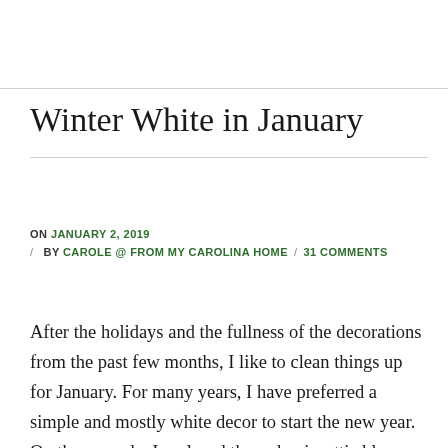Winter White in January
ON JANUARY 2, 2019 / BY CAROLE @ FROM MY CAROLINA HOME / 31 COMMENTS
After the holidays and the fullness of the decorations from the past few months, I like to clean things up for January.  For many years, I have preferred a simple and mostly white decor to start the new year.  On the veranda, I replaced the red poinsettia blooms with